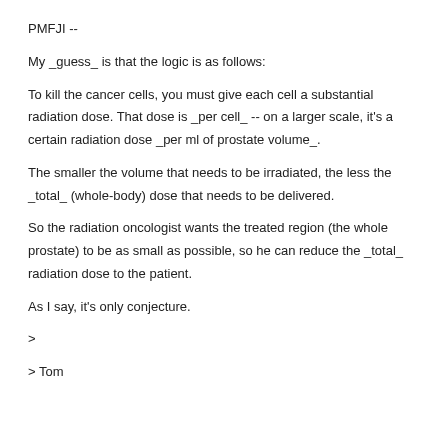PMFJI --
My _guess_ is that the logic is as follows:
To kill the cancer cells, you must give each cell a substantial radiation dose. That dose is _per cell_ -- on a larger scale, it's a certain radiation dose _per ml of prostate volume_.
The smaller the volume that needs to be irradiated, the less the _total_ (whole-body) dose that needs to be delivered.
So the radiation oncologist wants the treated region (the whole prostate) to be as small as possible, so he can reduce the _total_ radiation dose to the patient.
As I say, it's only conjecture.
>
> Tom